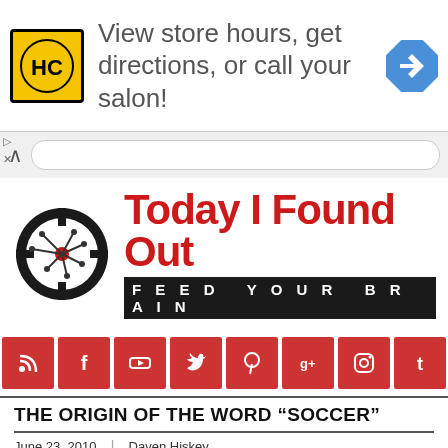[Figure (screenshot): Ad banner: HC salon logo, text 'View store hours, get directions, or call your salon!', blue arrow icon]
[Figure (logo): Today I Found Out website logo with neuron icon and tagline FEED YOUR BRAIN]
[Figure (infographic): Social media icon bar with RSS, Facebook, YouTube, Twitter, Pinterest, Google+, Instagram, Tumblr buttons in red]
MENU
THE ORIGIN OF THE WORD “SOCCER”
June 23, 2010 | Daven Hiskey